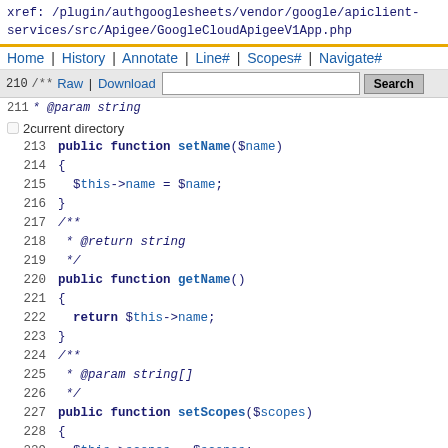xref: /plugin/authgooglesheets/vendor/google/apiclient-services/src/Apigee/GoogleCloudApigeeV1App.php
Home | History | Annotate | Line# | Scopes# | Navigate#
Raw | Download  [search box] Search  current directory
[Figure (screenshot): PHP source code viewer showing lines 213-234 of GoogleCloudApigeeV1App.php with syntax highlighting]
213  public function setName($name)
214  {
215    $this->name = $name;
216  }
217  /**
218   * @return string
219   */
220  public function getName()
221  {
222    return $this->name;
223  }
224  /**
225   * @param string[]
226   */
227  public function setScopes($scopes)
228  {
229    $this->scopes = $scopes;
230  }
231  /**
232   * @return string[]
233   */
234  public function getScopes()